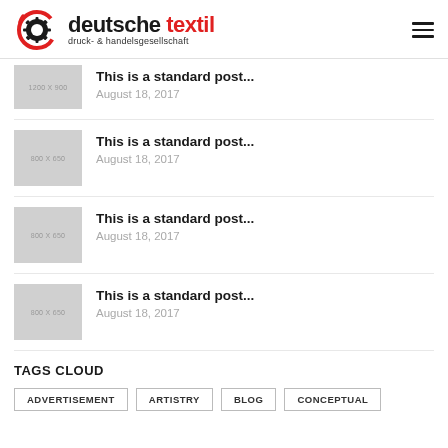[Figure (logo): Deutsche Textil logo with gear/circle icon and text 'deutsche textil druck- & handelsgesellschaft']
This is a standard post... August 18, 2017 (partial, 1200x900 thumbnail)
This is a standard post... August 18, 2017 (800x650 thumbnail)
This is a standard post... August 18, 2017 (800x650 thumbnail)
This is a standard post... August 18, 2017 (800x650 thumbnail)
TAGS CLOUD
ADVERTISEMENT  ARTISTRY  BLOG  CONCEPTUAL